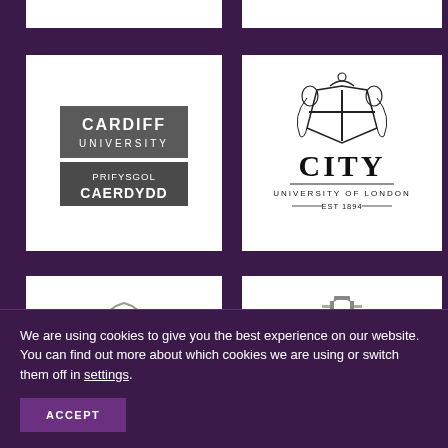[Figure (logo): Cardiff University / Prifysgol Caerdydd bilingual logo in dark grey on white background]
[Figure (logo): City University of London logo with heraldic crest, EST 1894, on white background]
[Figure (logo): Partial university logo (bottom portion of circular emblem) on white background, bottom-left]
[Figure (logo): Partial university logo (top portion of building/gate icon) on white background, bottom-right]
We are using cookies to give you the best experience on our website.
You can find out more about which cookies we are using or switch them off in settings.
ACCEPT